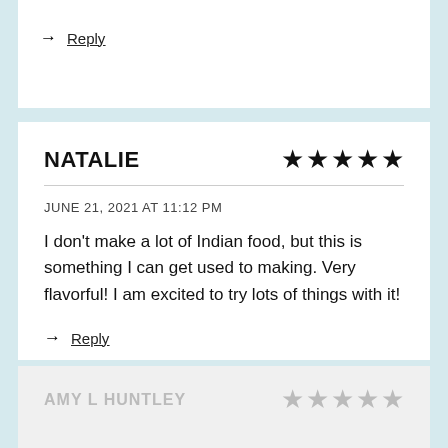→ Reply
NATALIE ★★★★★
JUNE 21, 2021 AT 11:12 PM
I don't make a lot of Indian food, but this is something I can get used to making. Very flavorful! I am excited to try lots of things with it!
→ Reply
AMY L HUNTLEY ★★★★★